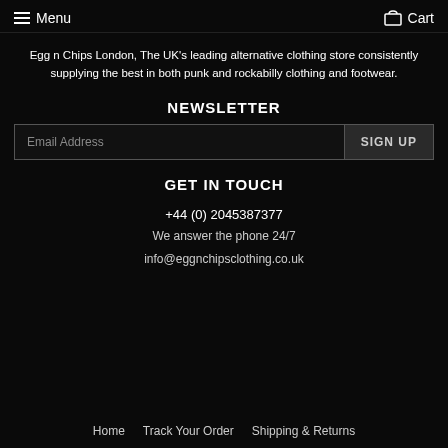Menu  Cart
Egg n Chips London, The UK's leading alternative clothing store consistently supplying the best in both punk and rockabilly clothing and footwear.
NEWSLETTER
Email Address  SIGN UP
GET IN TOUCH
+44 (0) 2045387377
We answer the phone 24/7
info@eggnchipsclothing.co.uk
Home    Track Your Order    Shipping & Returns